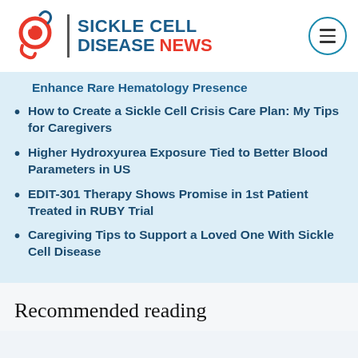SICKLE CELL DISEASE NEWS
Enhance Rare Hematology Presence
How to Create a Sickle Cell Crisis Care Plan: My Tips for Caregivers
Higher Hydroxyurea Exposure Tied to Better Blood Parameters in US
EDIT-301 Therapy Shows Promise in 1st Patient Treated in RUBY Trial
Caregiving Tips to Support a Loved One With Sickle Cell Disease
Recommended reading